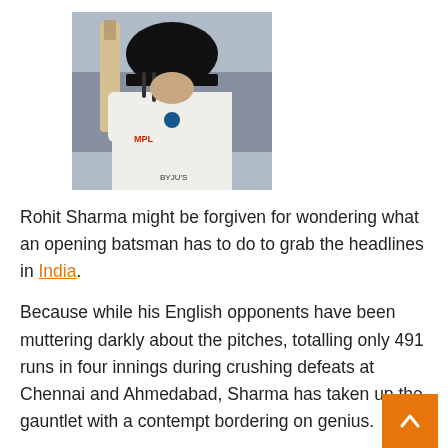[Figure (photo): Cricket player (Rohit Sharma) in white Test cricket uniform holding a bat, wearing a black helmet, with MPL and BYJU'S logos on jersey]
Rohit Sharma might be forgiven for wondering what an opening batsman has to do to grab the headlines in India.
Because while his English opponents have been muttering darkly about the pitches, totalling only 491 runs in four innings during crushing defeats at Chennai and Ahmedabad, Sharma has taken up the gauntlet with a contempt bordering on genius.
The bouquets have mainly gone to India's slow bowlers, Axar Patel and Ravichandran Ashwin. Between them, they have 42 wickets in this series at 13